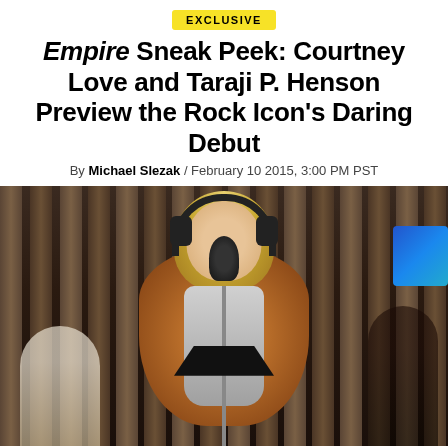EXCLUSIVE
Empire Sneak Peek: Courtney Love and Taraji P. Henson Preview the Rock Icon's Daring Debut
By Michael Slezak / February 10 2015, 3:00 PM PST
[Figure (photo): Woman with blonde hair wearing headphones and a fur coat, singing into a studio microphone. She is gesturing with both hands. A music stand is in the foreground. Background figures and vertical panel curtains are visible. A blue screen appears at upper right.]